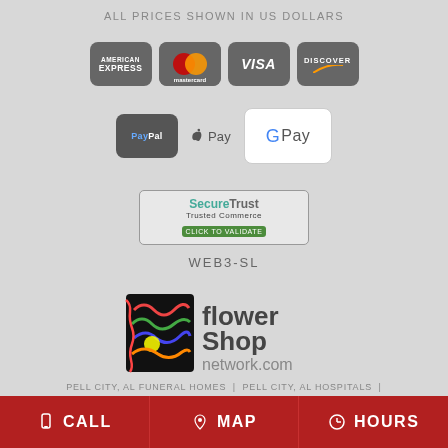ALL PRICES SHOWN IN US DOLLARS
[Figure (logo): Payment method logos: American Express, Mastercard, Visa, Discover, PayPal, Apple Pay, Google Pay]
[Figure (logo): SecureTrust Trusted Commerce - Click to Validate badge]
WEB3-SL
[Figure (logo): Flower Shop Network .com logo]
PELL CITY, AL FUNERAL HOMES | PELL CITY, AL HOSPITALS |
CALL   MAP   HOURS